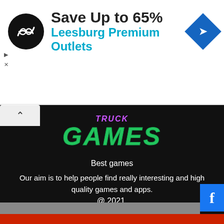[Figure (screenshot): Advertisement banner: black circular logo with double arrow symbol, text 'Save Up to 65%' in bold black, 'Leesburg Premium Outlets' in blue, and a blue diamond navigation icon on the right]
[Figure (logo): Truck Games website logo with purple/blue text above and large green bold italic 'GAMES' text]
Best games
Our aim is to help people find really interesting and high quality games and apps.
@ 2021.
All rights reserved Terms of Service DMCA / Copyright
[Figure (other): Three social media icons in circles: Facebook (f), Twitter (bird), YouTube (play button)]